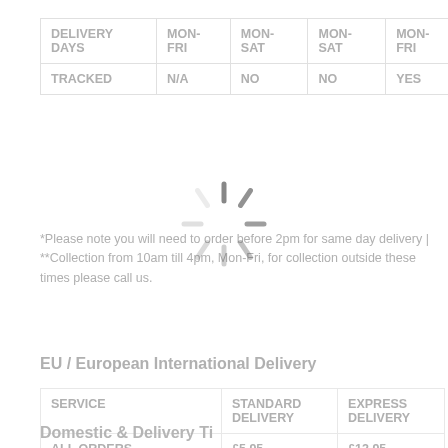| DELIVERY DAYS | MON-FRI | MON-SAT | MON-SAT | MON-FRI |
| --- | --- | --- | --- | --- |
| TRACKED | N/A | NO | NO | YES |
*Please note you will need to order before 2pm for same day delivery | **Collection from 10am till 4pm, Mon-Fri, for collection outside these times please call us.
EU / European International Delivery
| SERVICE | STANDARD DELIVERY | EXPRESS DELIVERY |
| --- | --- | --- |
| ALL ORDERS | £5.95 | £12.95 |
| EST DELIVERY TIME | 5 - 10 DAYS | 3 - 5 DAYS |
| TRACKED | NO | YES |
Domestic & Delivery Ti...